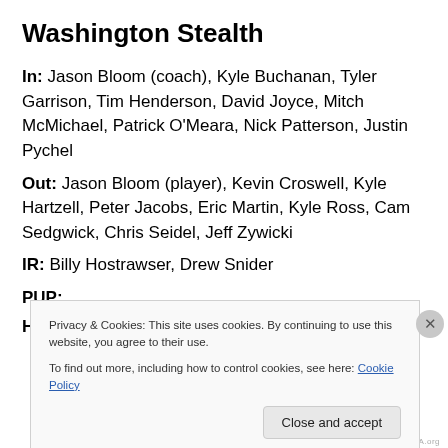Washington Stealth
In: Jason Bloom (coach), Kyle Buchanan, Tyler Garrison, Tim Henderson, David Joyce, Mitch McMichael, Patrick O'Meara, Nick Patterson, Justin Pychel
Out: Jason Bloom (player), Kevin Croswell, Kyle Hartzell, Peter Jacobs, Eric Martin, Kyle Ross, Cam Sedgwick, Chris Seidel, Jeff Zywicki
IR: Billy Hostrawser, Drew Snider
PUP:
Holdout: Mitch Jones
Privacy & Cookies: This site uses cookies. By continuing to use this website, you agree to their use.
To find out more, including how to control cookies, see here: Cookie Policy